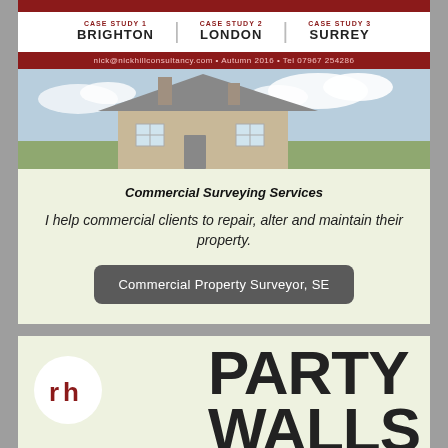CASE STUDY 1 BRIGHTON | CASE STUDY 2 LONDON | CASE STUDY 3 SURREY
nick@nickhillconsultancy.com + Autumn 2016 + Tel 07967 254286
[Figure (photo): House rooftop with chimneys against cloudy sky]
Commercial Surveying Services
I help commercial clients to repair, alter and maintain their property.
Commercial Property Surveyor, SE
[Figure (logo): Nick Hill Consultancy logo with rh letters in dark red circle, and PARTY WALLS text in large bold letters]